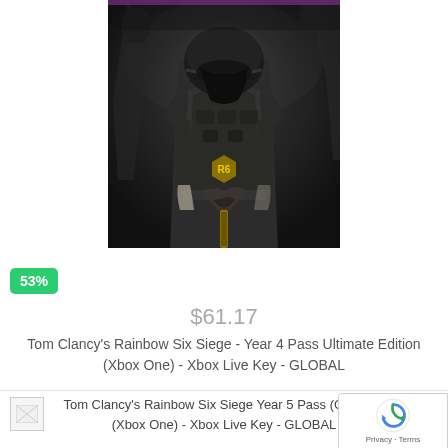[Figure (photo): Game cover art for Tom Clancy's Rainbow Six Siege showing a soldier in tactical gear and helmet holding a weapon, dark moody lighting]
53%
$61.17
Tom Clancy's Rainbow Six Siege - Year 4 Pass Ultimate Edition (Xbox One) - Xbox Live Key - GLOBAL
[Figure (photo): Small broken/placeholder image icon]
Tom Clancy's Rainbow Six Siege Year 5 Pass (Gold E... (Xbox One) - Xbox Live Key - GLOBAL
[Figure (other): Google reCAPTCHA badge with Privacy and Terms links]